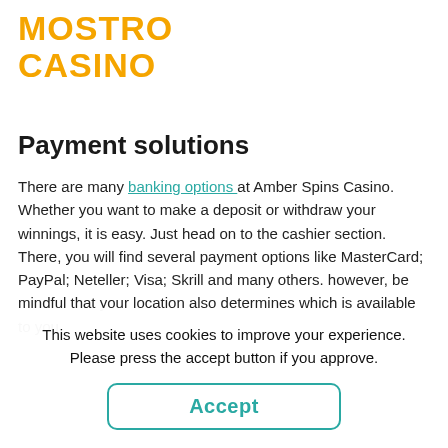[Figure (logo): Mostro Casino logo in orange bold text, two lines: MOSTRO and CASINO]
Payment solutions
There are many banking options at Amber Spins Casino. Whether you want to make a deposit or withdraw your winnings, it is easy. Just head on to the cashier section. There, you will find several payment options like MasterCard; PayPal; Neteller; Visa; Skrill and many others. however, be mindful that your location also determines which is available to you.
This website uses cookies to improve your experience. Please press the accept button if you approve.
Accept